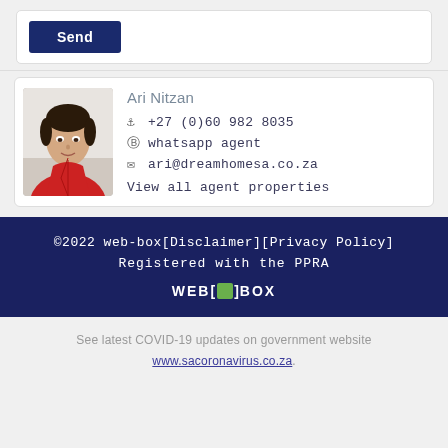Send
[Figure (photo): Headshot of agent Ari Nitzan, a man in a red jacket against a light background]
Ari Nitzan
+27 (0)60 982 8035
whatsapp agent
ari@dreamhomesa.co.za
View all agent properties
©2022 web-box[Disclaimer][Privacy Policy]
Registered with the PPRA
WEB [■] BOX
See latest COVID-19 updates on government website www.sacoronavirus.co.za.